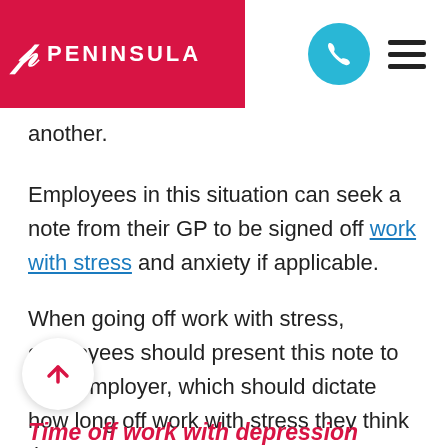PENINSULA
another.
Employees in this situation can seek a note from their GP to be signed off work with stress and anxiety if applicable.
When going off work with stress, employees should present this note to their employer, which should dictate how long off work with stress they think they need to have.
Time off work with depression